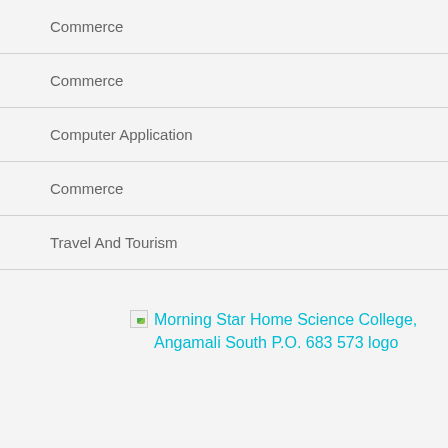Commerce
Commerce
Computer Application
Commerce
Travel And Tourism
Read More
[Figure (logo): Morning Star Home Science College, Angamali South P.O. 683 573 logo — broken image placeholder with alt text link]